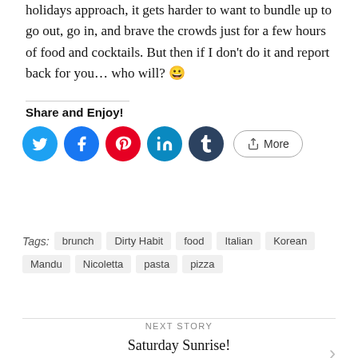holidays approach, it gets harder to want to bundle up to go out, go in, and brave the crowds just for a few hours of food and cocktails. But then if I don't do it and report back for you… who will? 😀
Share and Enjoy!
[Figure (other): Social sharing buttons: Twitter, Facebook, Pinterest, LinkedIn, Tumblr, More]
Tags: brunch, Dirty Habit, food, Italian, Korean, Mandu, Nicoletta, pasta, pizza
NEXT STORY
Saturday Sunrise!